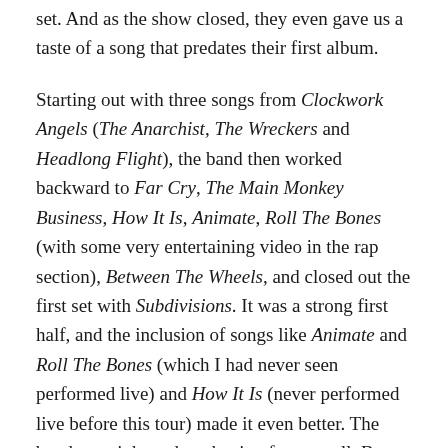set. And as the show closed, they even gave us a taste of a song that predates their first album.
Starting out with three songs from Clockwork Angels (The Anarchist, The Wreckers and Headlong Flight), the band then worked backward to Far Cry, The Main Monkey Business, How It Is, Animate, Roll The Bones (with some very entertaining video in the rap section), Between The Wheels, and closed out the first set with Subdivisions. It was a strong first half, and the inclusion of songs like Animate and Roll The Bones (which I had never seen performed live) and How It Is (never performed live before this tour) made it even better. The band was tight and yet having fun as well. But the best was yet to come.